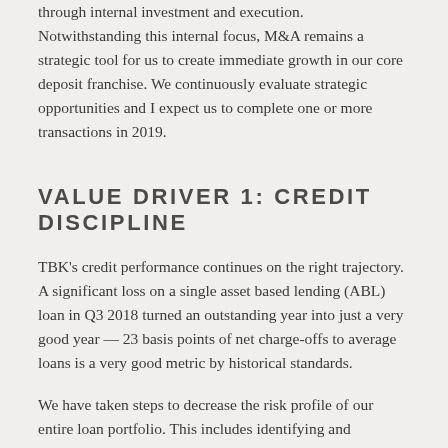through internal investment and execution. Notwithstanding this internal focus, M&A remains a strategic tool for us to create immediate growth in our core deposit franchise. We continuously evaluate strategic opportunities and I expect us to complete one or more transactions in 2019.
VALUE DRIVER 1: CREDIT DISCIPLINE
TBK's credit performance continues on the right trajectory. A significant loss on a single asset based lending (ABL) loan in Q3 2018 turned an outstanding year into just a very good year — 23 basis points of net charge-offs to average loans is a very good metric by historical standards.
We have taken steps to decrease the risk profile of our entire loan portfolio. This includes identifying and resolving asset based lending credits with eroding trends and cleaning up loans in the community bank portfolio — especially credits we acquired through M&A. We have added senior members to the credit team